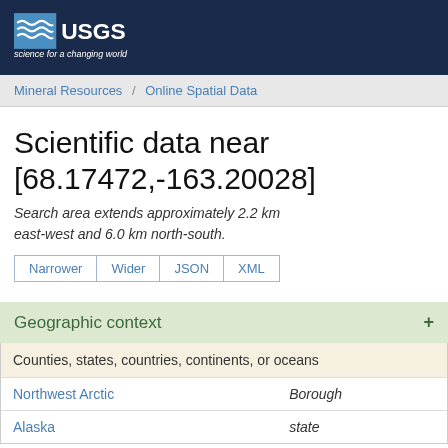[Figure (logo): USGS logo – science for a changing world – on dark navy background]
Mineral Resources / Online Spatial Data
Scientific data near [68.17472,-163.20028]
Search area extends approximately 2.2 km east-west and 6.0 km north-south.
Narrower
Wider
JSON
XML
Geographic context
| Counties, states, countries, continents, or oceans |  |
| --- | --- |
| Northwest Arctic | Borough |
| Alaska | state |